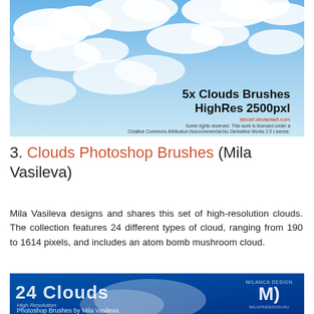[Figure (photo): Sky photo with white fluffy clouds on blue background. Overlay text reads '5x Clouds Brushes HighRes 2500pxl' with credits: 'leboef.deviantart.com. Some rights reserved. This work is licensed under a Creative Commons Attribution-Noncommercial-No Derivative Works 2.5 License.']
3. Clouds Photoshop Brushes (Mila Vasileva)
Mila Vasileva designs and shares this set of high-resolution clouds. The collection features 24 different types of cloud, ranging from 190 to 1614 pixels, and includes an atom bomb mushroom cloud.
[Figure (photo): Blue promotional banner reading '24 Clouds High Resolution Photoshop Brushes by Mila Vasileva' with cloud imagery and MD logo in top right.]